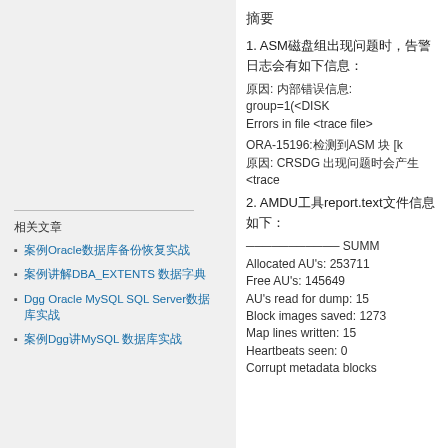摘要
1. ASM磁盘组出现问题时，告警日志会有如下信息：
原因: 内部错误信息: group=1(<DISK
Errors in file <trace file>
ORA-15196:检测到ASM 块 [k
原因: CRSDG 出现问题时会产生<trace
2. AMDU工具report.text文件信息如下：
─────────────── SUMM
Allocated AU's: 253711
Free AU's: 145649
AU's read for dump: 15
Block images saved: 1273
Map lines written: 15
Heartbeats seen: 0
Corrupt metadata blocks
相关文章
案例Oracle数据库备份恢复实战
案例讲解DBA_EXTENTS 数据字典
Dgg Oracle MySQL SQL Server数据库实战
案例Dgg讲MySQL 数据库实战